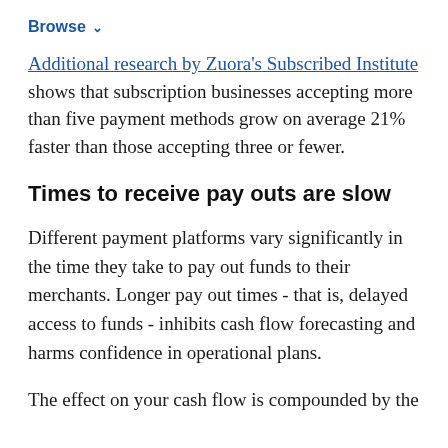Browse
Additional research by Zuora's Subscribed Institute shows that subscription businesses accepting more than five payment methods grow on average 21% faster than those accepting three or fewer.
Times to receive pay outs are slow
Different payment platforms vary significantly in the time they take to pay out funds to their merchants. Longer pay out times - that is, delayed access to funds - inhibits cash flow forecasting and harms confidence in operational plans.
The effect on your cash flow is compounded by the